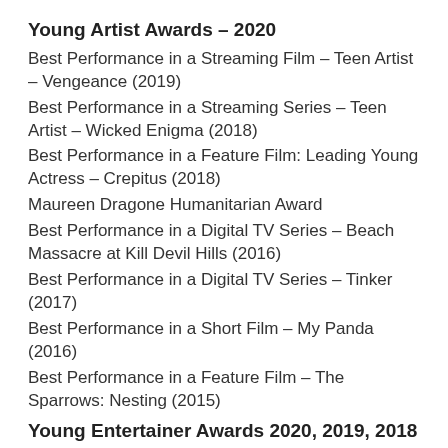Young Artist Awards – 2020
Best Performance in a Streaming Film – Teen Artist – Vengeance (2019)
Best Performance in a Streaming Series – Teen Artist – Wicked Enigma (2018)
Best Performance in a Feature Film: Leading Young Actress – Crepitus (2018)
Maureen Dragone Humanitarian Award
Best Performance in a Digital TV Series – Beach Massacre at Kill Devil Hills (2016)
Best Performance in a Digital TV Series – Tinker (2017)
Best Performance in a Short Film – My Panda (2016)
Best Performance in a Feature Film – The Sparrows: Nesting (2015)
Young Entertainer Awards 2020, 2019, 2018 & 2017